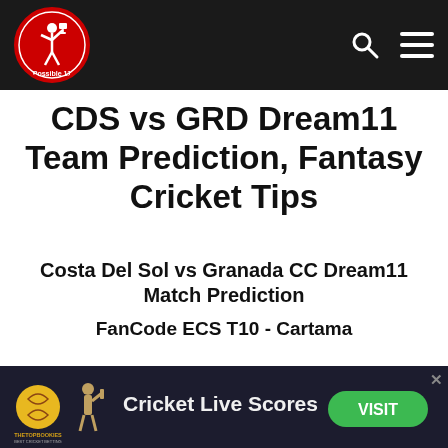Possible 11 - Cricket Fantasy Tips
CDS vs GRD Dream11 Team Prediction, Fantasy Cricket Tips
Costa Del Sol vs Granada CC Dream11 Match Prediction
FanCode ECS T10 - Cartama
[Figure (infographic): TheTopBookies advertisement banner with cricket live scores and VISIT button]